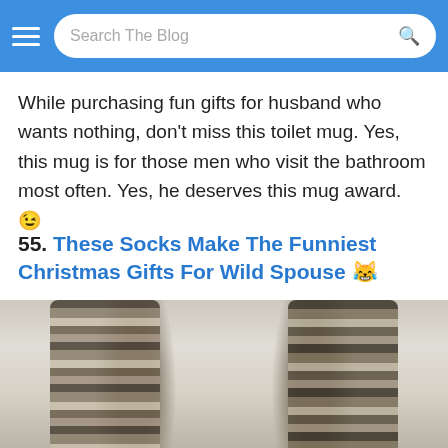Search The Blog
While purchasing fun gifts for husband who wants nothing, don't miss this toilet mug. Yes, this mug is for those men who visit the bathroom most often. Yes, he deserves this mug award. 😉
55. These Socks Make The Funniest Christmas Gifts For Wild Spouse 😜
[Figure (photo): Two feet wearing cat/animal fur print socks resting on white bedding, viewed from above]